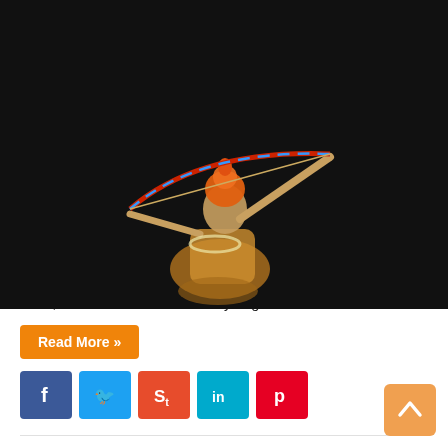[Figure (photo): Person dressed as Lord Rama in traditional costume with orange hair/crown, drawing a bow with red and blue colored bow against dark background]
Dussehra Greetings for Students And Children: In the months of Ashwin and Kartik, Hindus observe a 10 day ceremony of fast, rituals and celebrations to honor the triumph of Lord Rama over Demon Ravana. Dussehra also symbolizes the triumph of warrior Goddess Durga over the buffalo demon, Mahisasura. Thus, it is a celebration of victory of good over evil. This …
Read More »
[Figure (other): Social media share buttons: Facebook (blue), Twitter (light blue), StumbleUpon (red), LinkedIn (cyan), Pinterest (red)]
Durga Puja Origin Story For Students And